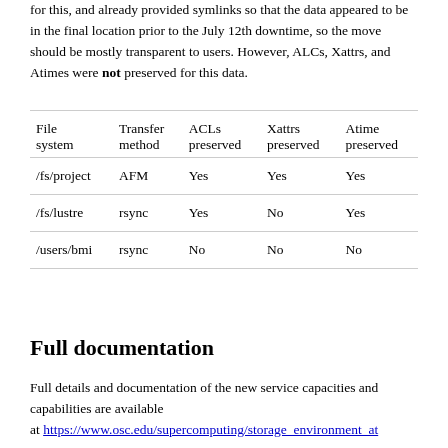for this, and already provided symlinks so that the data appeared to be in the final location prior to the July 12th downtime, so the move should be mostly transparent to users. However, ALCs, Xattrs, and Atimes were not preserved for this data.
| File system | Transfer method | ACLs preserved | Xattrs preserved | Atime preserved |
| --- | --- | --- | --- | --- |
| /fs/project | AFM | Yes | Yes | Yes |
| /fs/lustre | rsync | Yes | No | Yes |
| /users/bmi | rsync | No | No | No |
Full documentation
Full details and documentation of the new service capacities and capabilities are available at https://www.osc.edu/supercomputing/storage_environment_at